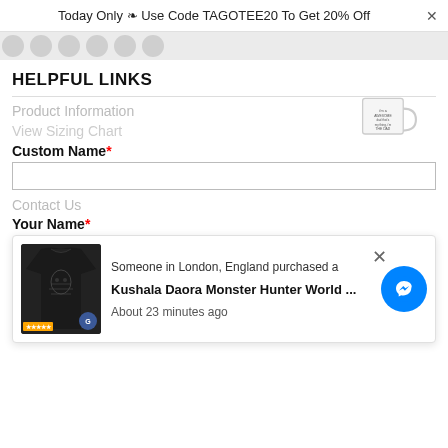Today Only ❧ Use Code TAGOTEE20 To Get 20% Off
HELPFUL LINKS
Product Information
[Figure (photo): A white coffee mug with text printed on it]
View Sizing Chart
Custom Name*
Contact Us
Your Name*
[Figure (screenshot): A notification popup showing someone in London, England purchased a Kushala Daora Monster Hunter World item about 23 minutes ago, with a dark graphic t-shirt thumbnail and a Messenger button]